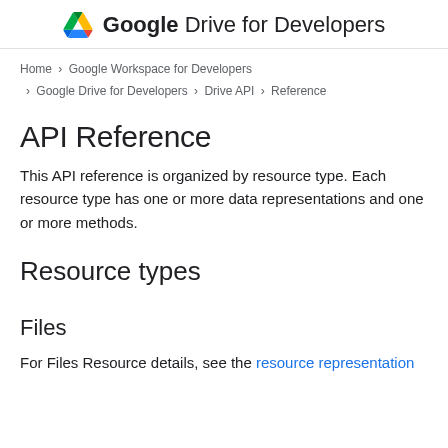Google Drive for Developers
Home > Google Workspace for Developers > Google Drive for Developers > Drive API > Reference
API Reference
This API reference is organized by resource type. Each resource type has one or more data representations and one or more methods.
Resource types
Files
For Files Resource details, see the resource representation